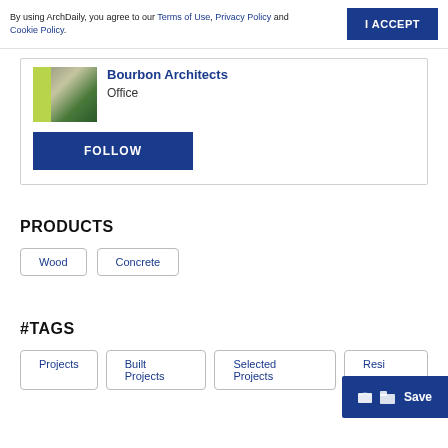By using ArchDaily, you agree to our Terms of Use, Privacy Policy and Cookie Policy.
I ACCEPT
[Figure (photo): Thumbnail image of an architectural interior with yellow/green wall element and shelving]
Bourbon Architects
Office
FOLLOW
PRODUCTS
Wood
Concrete
#TAGS
Projects
Built Projects
Selected Projects
Resi...
Save